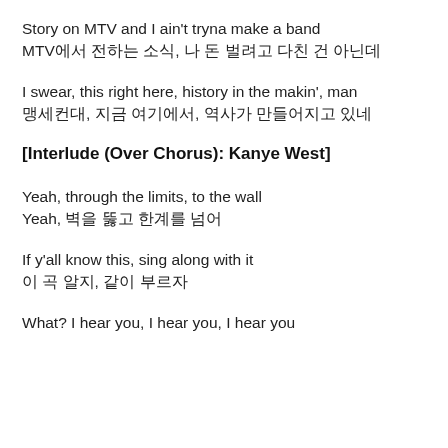Story on MTV and I ain't tryna make a band
MTV에서 전하는 소식, 나 돈 벌려고 다친 건 아닌데
I swear, this right here, history in the makin', man
맹세컨대, 지금 여기에서, 역사가 만들어지고 있네
[Interlude (Over Chorus): Kanye West]
Yeah, through the limits, to the wall
Yeah, 벽을 뚫고 한계를 넘어
If y'all know this, sing along with it
이 곡 알지, 같이 부르자
What? I hear you, I hear you, I hear you